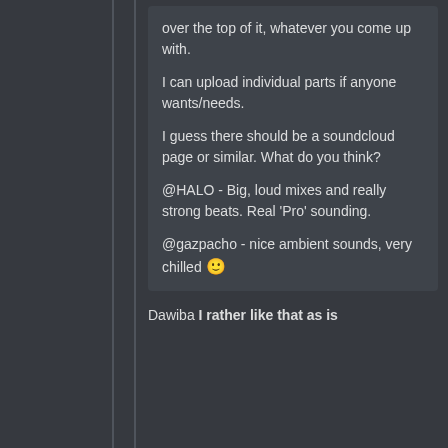over the top of it, whatever you come up with.

I can upload individual parts if anyone wants/needs.

I guess there should be a soundcloud page or similar. What do you think?

@HALO - Big, loud mixes and really strong beats. Real 'Pro' sounding.

@gazpacho - nice ambient sounds, very chilled 🙂
Dawiba I rather like that as is